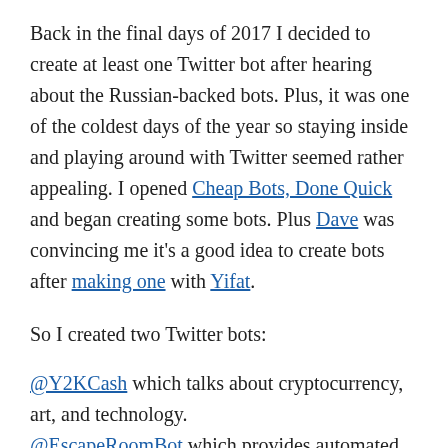Back in the final days of 2017 I decided to create at least one Twitter bot after hearing about the Russian-backed bots. Plus, it was one of the coldest days of the year so staying inside and playing around with Twitter seemed rather appealing. I opened Cheap Bots, Done Quick and began creating some bots. Plus Dave was convincing me it's a good idea to create bots after making one with Yifat.
So I created two Twitter bots:
@Y2KCash which talks about cryptocurrency, art, and technology.
@EscapeRoomBot which provides automated commentary on escape rooms.